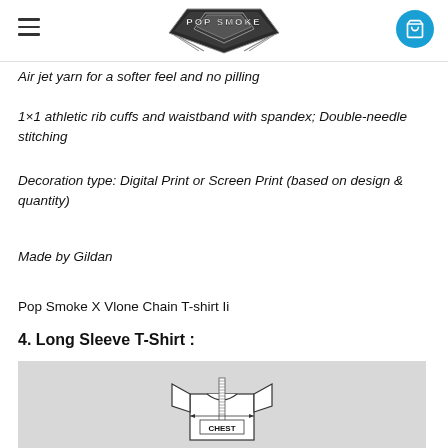Pop Smoke logo header with hamburger menu and cart button
Air jet yarn for a softer feel and no pilling
1×1 athletic rib cuffs and waistband with spandex; Double-needle stitching
Decoration type: Digital Print or Screen Print (based on design & quantity)
Made by Gildan
Pop Smoke X Vlone Chain T-shirt Ii
4. Long Sleeve T-Shirt :
[Figure (illustration): Technical illustration of a long sleeve t-shirt on a grey background with a ruler measuring the chest width, labeled CHEST]